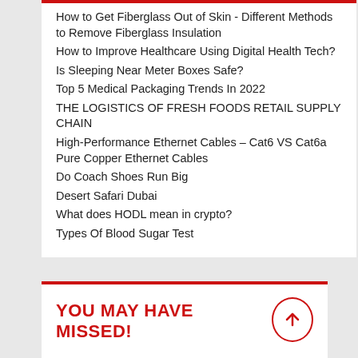How to Get Fiberglass Out of Skin - Different Methods to Remove Fiberglass Insulation
How to Improve Healthcare Using Digital Health Tech?
Is Sleeping Near Meter Boxes Safe?
Top 5 Medical Packaging Trends In 2022
THE LOGISTICS OF FRESH FOODS RETAIL SUPPLY CHAIN
High-Performance Ethernet Cables – Cat6 VS Cat6a Pure Copper Ethernet Cables
Do Coach Shoes Run Big
Desert Safari Dubai
What does HODL mean in crypto?
Types Of Blood Sugar Test
YOU MAY HAVE MISSED!